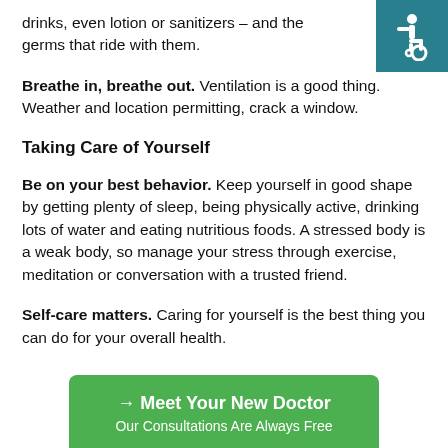drinks, even lotion or sanitizers – and the germs that ride with them.
[Figure (illustration): Accessibility icon: white wheelchair user symbol on teal/dark cyan background square, top-right corner]
Breathe in, breathe out. Ventilation is a good thing. Weather and location permitting, crack a window.
Taking Care of Yourself
Be on your best behavior. Keep yourself in good shape by getting plenty of sleep, being physically active, drinking lots of water and eating nutritious foods. A stressed body is a weak body, so manage your stress through exercise, meditation or conversation with a trusted friend.
Self-care matters. Caring for yourself is the best thing you can do for your overall health.
→ Meet Your New Doctor
Our Consultations Are Always Free